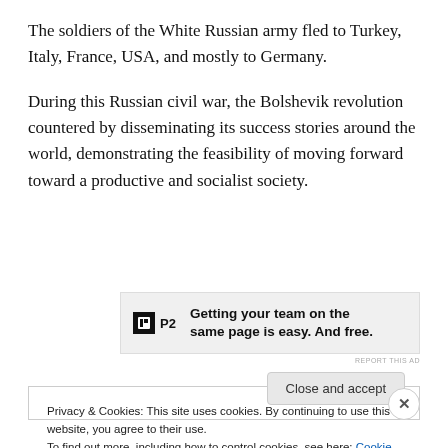The soldiers of the White Russian army fled to Turkey, Italy, France, USA, and mostly to Germany.
During this Russian civil war, the Bolshevik revolution countered by disseminating its success stories around the world, demonstrating the feasibility of moving forward toward a productive and socialist society.
[Figure (other): Advertisement banner for P2 with logo and text: 'Getting your team on the same page is easy. And free.']
REPORT THIS AD
Privacy & Cookies: This site uses cookies. By continuing to use this website, you agree to their use. To find out more, including how to control cookies, see here: Cookie Policy
Close and accept